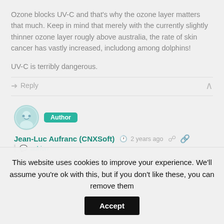Ozone blocks UV-C and that's why the ozone layer matters that much. Keep in mind that merely with the currently slightly thinner ozone layer rougly above australia, the rate of skin cancer has vastly increased, includong among dolphins!
UV-C is terribly dangerous.
Reply
Jean-Luc Aufranc (CNXSoft)  2 years ago
adrien
Thanks. When I think about UV lights, banknote checkers and mosquito traps come to mind, as well as UV light
This website uses cookies to improve your experience. We'll assume you're ok with this, but if you don't like these, you can remove them  Accept